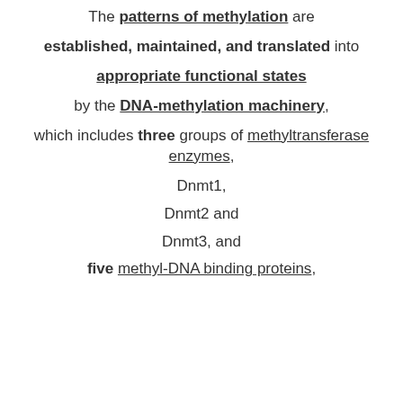The patterns of methylation are established, maintained, and translated into appropriate functional states by the DNA-methylation machinery, which includes three groups of methyltransferase enzymes, Dnmt1, Dnmt2 and Dnmt3, and five methyl-DNA binding proteins,